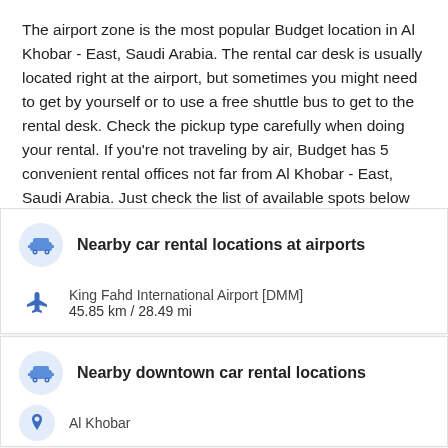The airport zone is the most popular Budget location in Al Khobar - East, Saudi Arabia. The rental car desk is usually located right at the airport, but sometimes you might need to get by yourself or to use a free shuttle bus to get to the rental desk. Check the pickup type carefully when doing your rental. If you're not traveling by air, Budget has 5 convenient rental offices not far from Al Khobar - East, Saudi Arabia. Just check the list of available spots below or use our map.
Nearby car rental locations at airports
King Fahd International Airport [DMM]
45.85 km / 28.49 mi
Nearby downtown car rental locations
Al Khobar